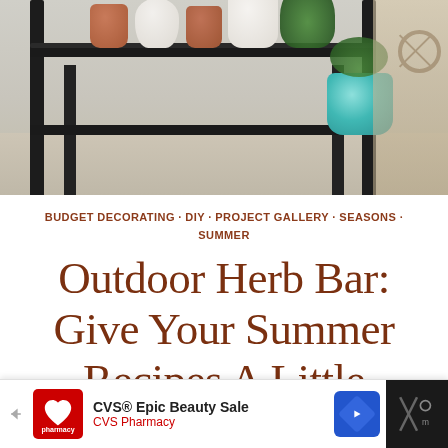[Figure (photo): Outdoor shelf/herb bar with potted plants on gravel ground, including terracotta pots, white pots, and a teal glazed pot, with greenery visible on the right side.]
BUDGET DECORATING · DIY · PROJECT GALLERY · SEASONS · SUMMER
Outdoor Herb Bar: Give Your Summer Recipes A Little Something Extra
[Figure (other): Advertisement banner: CVS Epic Beauty Sale - CVS Pharmacy, with navigation arrow icon and dark close panel on right.]